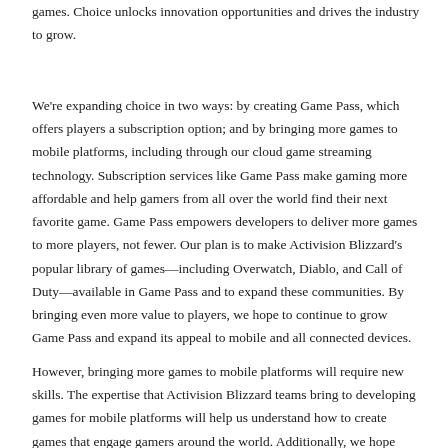games. Choice unlocks innovation opportunities and drives the industry to grow.
We're expanding choice in two ways: by creating Game Pass, which offers players a subscription option; and by bringing more games to mobile platforms, including through our cloud game streaming technology. Subscription services like Game Pass make gaming more affordable and help gamers from all over the world find their next favorite game. Game Pass empowers developers to deliver more games to more players, not fewer. Our plan is to make Activision Blizzard's popular library of games—including Overwatch, Diablo, and Call of Duty—available in Game Pass and to expand these communities. By bringing even more value to players, we hope to continue to grow Game Pass and expand its appeal to mobile and all connected devices.
However, bringing more games to mobile platforms will require new skills. The expertise that Activision Blizzard teams bring to developing games for mobile platforms will help us understand how to create games that engage gamers around the world. Additionally, we hope gamers will enjoy playing